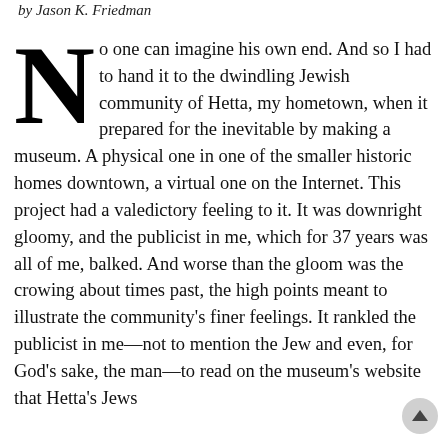by Jason K. Friedman
No one can imagine his own end. And so I had to hand it to the dwindling Jewish community of Hetta, my hometown, when it prepared for the inevitable by making a museum. A physical one in one of the smaller historic homes downtown, a virtual one on the Internet. This project had a valedictory feeling to it. It was downright gloomy, and the publicist in me, which for 37 years was all of me, balked. And worse than the gloom was the crowing about times past, the high points meant to illustrate the community's finer feelings. It rankled the publicist in me—not to mention the Jew and even, for God's sake, the man—to read on the museum's website that Hetta's Jews